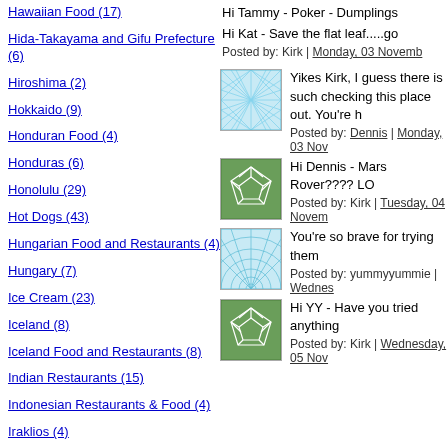Hawaiian Food (17)
Hida-Takayama and Gifu Prefecture (6)
Hiroshima (2)
Hokkaido (9)
Honduran Food (4)
Honduras (6)
Honolulu (29)
Hot Dogs (43)
Hungarian Food and Restaurants (4)
Hungary (7)
Ice Cream (23)
Iceland (8)
Iceland Food and Restaurants (8)
Indian Restaurants (15)
Indonesian Restaurants & Food (4)
Iraklios (4)
Iraqi Food and Restaurants (12)
Hi Tammy - Poker - Dumplings
Hi Kat - Save the flat leaf.....go
Posted by: Kirk | Monday, 03 Novemb
[Figure (photo): Blue web/mesh pattern thumbnail image]
Yikes Kirk, I guess there is such checking this place out. You're h
Posted by: Dennis | Monday, 03 Nov
[Figure (photo): Green soccer ball pattern thumbnail image]
Hi Dennis - Mars Rover???? LO
Posted by: Kirk | Tuesday, 04 Novem
[Figure (photo): Blue radial/tunnel pattern thumbnail image]
You're so brave for trying them
Posted by: yummyyummie | Wednes
[Figure (photo): Green soccer ball pattern thumbnail image]
Hi YY - Have you tried anything
Posted by: Kirk | Wednesday, 05 Nov